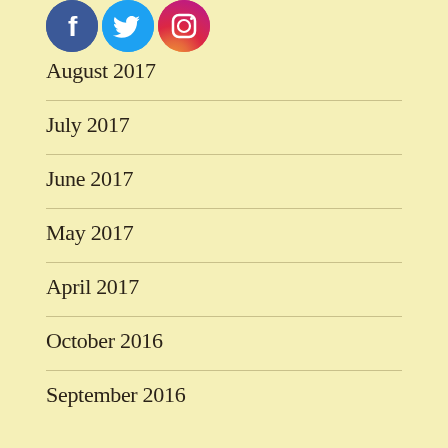[Figure (logo): Social media icons: Facebook (blue circle), Twitter (light blue circle), Instagram (gradient circle)]
August 2017
July 2017
June 2017
May 2017
April 2017
October 2016
September 2016
August 2016
July 2016